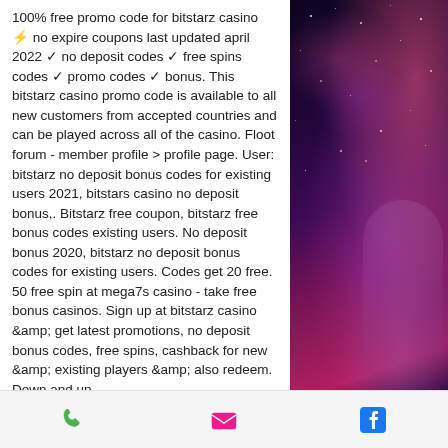100% free promo code for bitstarz casino ⚡ no expire coupons last updated april 2022 ✓ no deposit codes ✓ free spins codes ✓ promo codes ✓ bonus. This bitstarz casino promo code is available to all new customers from accepted countries and can be played across all of the casino. Floot forum - member profile &gt; profile page. User: bitstarz no deposit bonus codes for existing users 2021, bitstars casino no deposit bonus,. Bitstarz free coupon, bitstarz free bonus codes existing users. No deposit bonus 2020, bitstarz no deposit bonus codes for existing users. Codes get 20 free. 50 free spin at mega7s casino - take free bonus casinos. Sign up at bitstarz casino &amp; get latest promotions, no deposit bonus codes, free spins, cashback for new &amp; existing players &amp; also redeem. Down and up
[Figure (illustration): Space-themed background with nebula colors (purple, pink, magenta) and stars, featuring what appears to be a character in the lower right area]
Phone icon | Email icon | Facebook icon